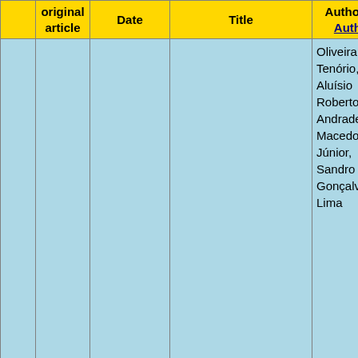|  | original article | Date | Title | Authors / Autho... |
| --- | --- | --- | --- | --- |
|  |  |  |  | Oliveira Tenório, Aluísio Roberto Andrade Macedo Júnior, Sandro Gonçalve Lima |
| 102 | [GO] | 2020—Sep—18 | Are SARS-CoV-2 reinfection and Covid-19 recurrence possible? a case report from Brazil | Lívia Pim Bonifácio Ana Paula Sulino Pereira, Daniel Cardoso d Almeida e Araújo, Viviane d Mata Pas Balbão, Benedito |